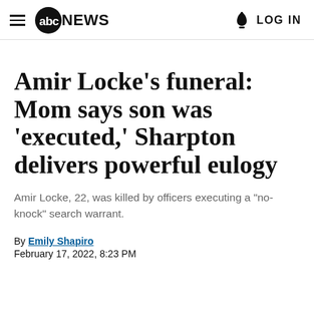abc NEWS  LOG IN
Amir Locke's funeral: Mom says son was 'executed,' Sharpton delivers powerful eulogy
Amir Locke, 22, was killed by officers executing a "no-knock" search warrant.
By Emily Shapiro
February 17, 2022, 8:23 PM